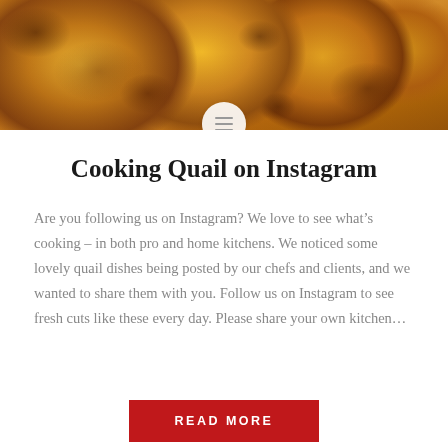[Figure (photo): Close-up photo of roasted quail dishes with golden-brown skin in a baking dish, food photography style]
Cooking Quail on Instagram
Are you following us on Instagram? We love to see what’s cooking – in both pro and home kitchens. We noticed some lovely quail dishes being posted by our chefs and clients, and we wanted to share them with you. Follow us on Instagram to see fresh cuts like these every day. Please share your own kitchen…
READ MORE